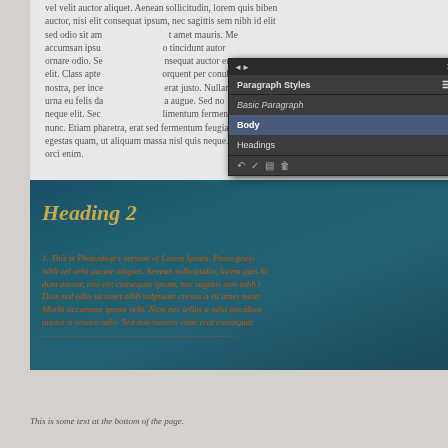[Figure (screenshot): Screenshot of a document editing application showing a page with Lorem Ipsum text, a Paragraph Styles dialog panel (with entries: Basic Paragraph, Body, Headings), a 'Heading 2' heading in gold italic serif font, and orange italic body text on a dark teal background.]
This is some text at the bottom of the page.